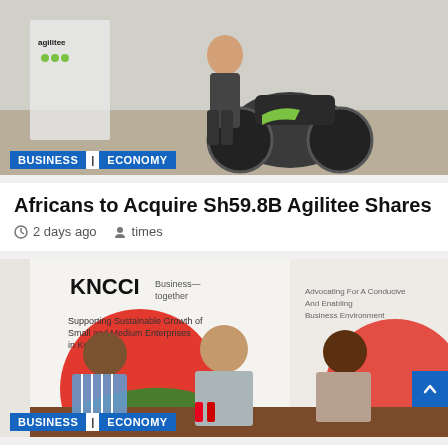[Figure (photo): Person standing next to a motorcycle with Agilitee branding]
BUSINESS | ECONOMY
Africans to Acquire Sh59.8B Agilitee Shares
2 days ago   times
[Figure (photo): Three people seated at a press conference table with KNCCI banners in background]
BUSINESS | ECONOMY
KNCCI to The New Regime: Complete Dongo Kundu Special E...